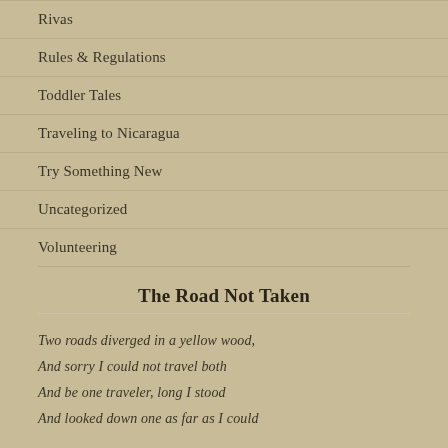Rivas
Rules & Regulations
Toddler Tales
Traveling to Nicaragua
Try Something New
Uncategorized
Volunteering
The Road Not Taken
Two roads diverged in a yellow wood,
And sorry I could not travel both
And be one traveler, long I stood
And looked down one as far as I could